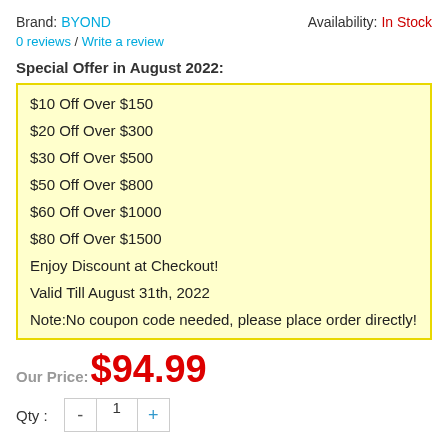Brand: BYOND    Availability: In Stock
0 reviews / Write a review
Special Offer in August 2022:
$10 Off Over $150
$20 Off Over $300
$30 Off Over $500
$50 Off Over $800
$60 Off Over $1000
$80 Off Over $1500
Enjoy Discount at Checkout!
Valid Till August 31th, 2022
Note:No coupon code needed, please place order directly!
Our Price: $94.99
Qty : 1